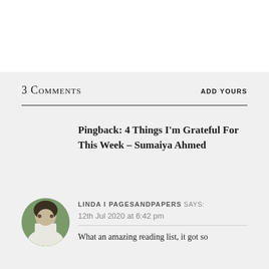3 Comments
ADD YOURS
Pingback: 4 Things I'm Grateful For This Week – Sumaiya Ahmed
LINDA I PAGESANDPAPERS Says:
12th Jul 2020 at 6:42 pm
What an amazing reading list, it got so